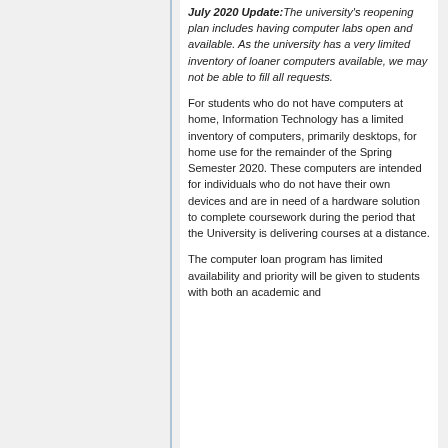July 2020 Update: The university's reopening plan includes having computer labs open and available. As the university has a very limited inventory of loaner computers available, we may not be able to fill all requests.
For students who do not have computers at home, Information Technology has a limited inventory of computers, primarily desktops, for home use for the remainder of the Spring Semester 2020. These computers are intended for individuals who do not have their own devices and are in need of a hardware solution to complete coursework during the period that the University is delivering courses at a distance.
The computer loan program has limited availability and priority will be given to students with both an academic and